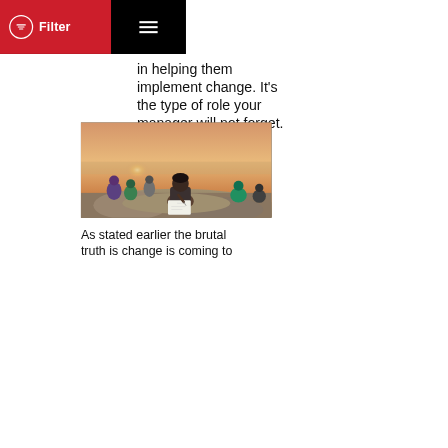Filter
in helping them implement change. It's the type of role your manager will not forget.
[Figure (photo): Group of young people sitting on rocks outdoors at sunset; one person in foreground is seated cross-legged writing or drawing on paper.]
As stated earlier the brutal truth is change is coming to